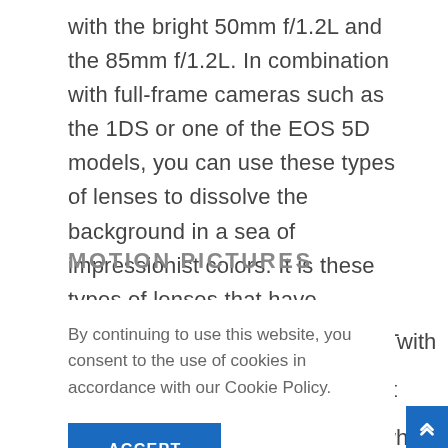with the bright 50mm f/1.2L and the 85mm f/1.2L. In combination with full-frame cameras such as the 1DS or one of the EOS 5D models, you can use these types of lenses to dissolve the background in a sea of impressionist colors. It is these types of lenses that have contributed to the fact that paper-thin depth of field and bokeh are so fashionable.
MOTION PICTURES
By continuing to use this website, you consent to the use of cookies in accordance with our Cookie Policy.
ACCEPT
s with
st
which
in 2008,
el that